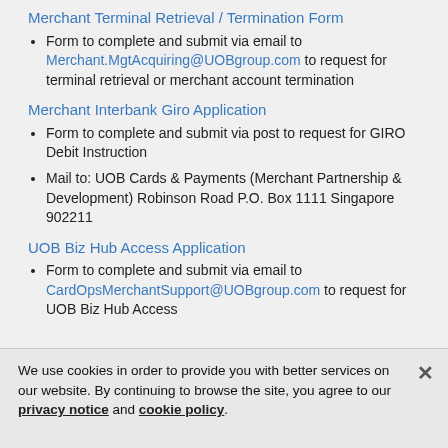Merchant Terminal Retrieval / Termination Form
Form to complete and submit via email to Merchant.MgtAcquiring@UOBgroup.com to request for terminal retrieval or merchant account termination
Merchant Interbank Giro Application
Form to complete and submit via post to request for GIRO Debit Instruction
Mail to: UOB Cards & Payments (Merchant Partnership & Development) Robinson Road P.O. Box 1111 Singapore 902211
UOB Biz Hub Access Application
Form to complete and submit via email to CardOpsMerchantSupport@UOBgroup.com to request for UOB Biz Hub Access
We use cookies in order to provide you with better services on our website. By continuing to browse the site, you agree to our privacy notice and cookie policy.